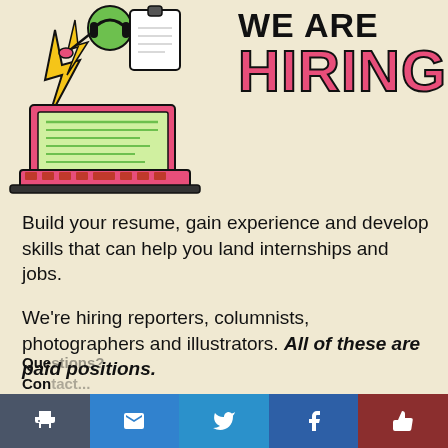[Figure (illustration): Cartoon illustration of a person with a megaphone, lightning bolt, documents, and a laptop/notepad — a recruitment/hiring themed graphic in green, pink, and black.]
WE ARE HIRING
Build your resume, gain experience and develop skills that can help you land internships and jobs.
We're hiring reporters, columnists, photographers and illustrators. All of these are paid positions.
Apply on Handshake.
Questions? Contact...